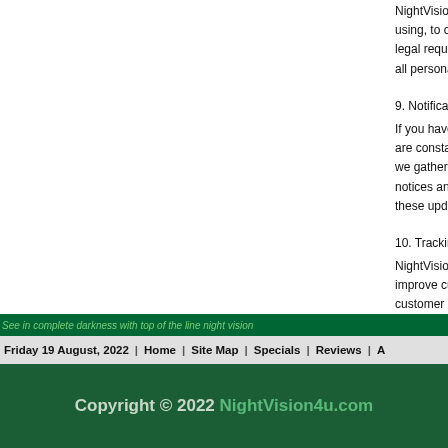NightVision4u.com keeps your personal information only so long as we need it for the purpose we are using, to offer you products and services when you are a customer, or as required to satisfy legal requirements. We destroy your personal information when we no longer need it or remove all personal identifiers from the information.
9. Notification of Changes.
If you have any comments or concerns about privacy at NightVision4u.com, please contact us. We are constantly looking to improve our services to you, this Privacy Notice may change from time to time. Information we gather now is subject to the Privacy Notice in effect at the time of use. We will make every effort to communicate notices and conditions to you, unless you have instructed us not to contact you. If you do not want to receive these updates, you should check our Web site frequently to see the current Privacy Notice.
10. Tracking Technology.
NightVision4u.com deploys tracking technology within the NightVision4u.com web site to help us improve customer experience. We deploy IP recording technology on our web site, this data is captured at customer account creation and at time of purchase. Also recorded are: page views, session durations, click counts, and live customer activity through our web site. All collected tracking information is strictly for NightVision4u.com use only.
See in complete darkness with top of the line night vision
Friday 19 August, 2022 | Home | Site Map | Specials | Reviews | A
Copyright © 2022 NightVision4u.com